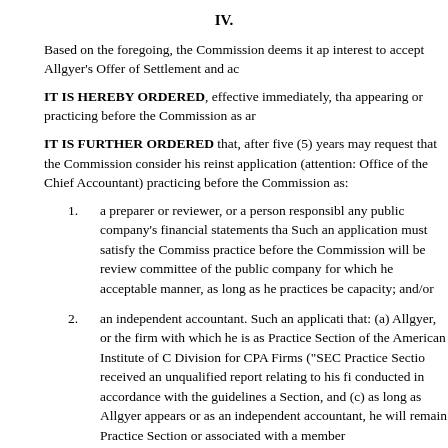IV.
Based on the foregoing, the Commission deems it ap interest to accept Allgyer's Offer of Settlement and ac
IT IS HEREBY ORDERED, effective immediately, tha appearing or practicing before the Commission as ar
IT IS FURTHER ORDERED that, after five (5) years may request that the Commission consider his reinst application (attention: Office of the Chief Accountant) practicing before the Commission as:
a preparer or reviewer, or a person responsibl any public company's financial statements tha Such an application must satisfy the Commiss practice before the Commission will be review committee of the public company for which he acceptable manner, as long as he practices be capacity; and/or
an independent accountant. Such an applicati that: (a) Allgyer, or the firm with which he is as Practice Section of the American Institute of C Division for CPA Firms ("SEC Practice Sectio received an unqualified report relating to his fi conducted in accordance with the guidelines a Section, and (c) as long as Allgyer appears or as an independent accountant, he will remain Practice Section or associated with a member